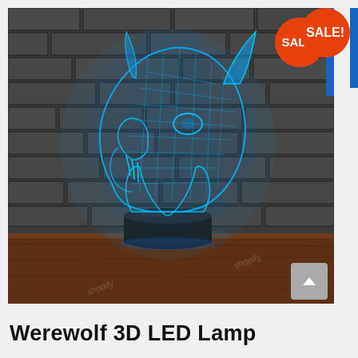[Figure (photo): A 3D LED lamp in the shape of a werewolf head with glowing blue wireframe/mesh design, displayed against a dark brick wall background. The lamp sits on a black cylindrical base on a wooden surface. A red circular 'SALE!' badge appears in the top-right corner. A blue vertical strip on the far right edge and a gray scroll-up button in the bottom-right.]
Werewolf 3D LED Lamp